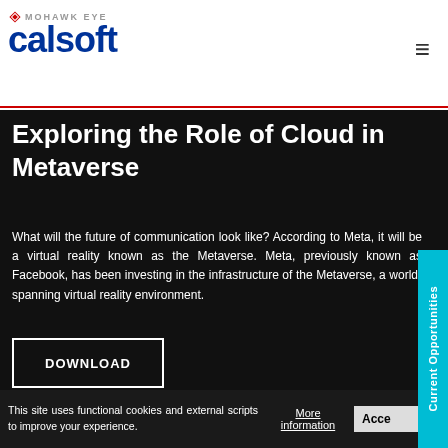MOHAWK EYE | calsoft
Exploring the Role of Cloud in Metaverse
What will the future of communication look like? According to Meta, it will be a virtual reality known as the Metaverse. Meta, previously known as Facebook, has been investing in the infrastructure of the Metaverse, a world-spanning virtual reality environment.
DOWNLOAD
This site uses functional cookies and external scripts to improve your experience.
More information
Current Opportunities